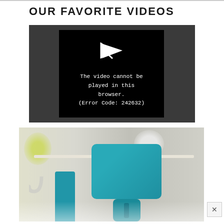OUR FAVORITE VIDEOS
[Figure (screenshot): Video player showing error message: 'The video cannot be played in this browser. (Error Code: 242632)' with a play icon on a black background]
[Figure (photo): Photo of a blue/teal tablet stand or device holder on a white surface, with blurred kitchen background]